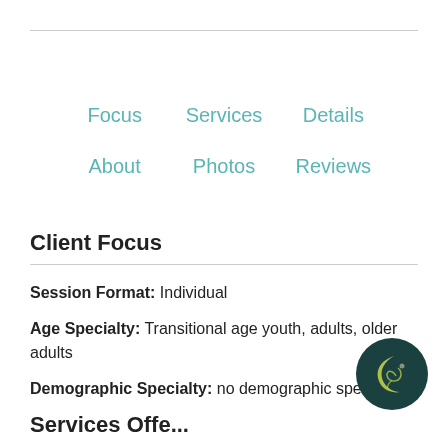Focus | Services | Details | About | Photos | Reviews
Client Focus
Session Format: Individual
Age Specialty: Transitional age youth, adults, older adults
Demographic Specialty: no demographic specialty
[Figure (logo): Dark teal circular logo with crescent moon and swirl design]
Services Offered